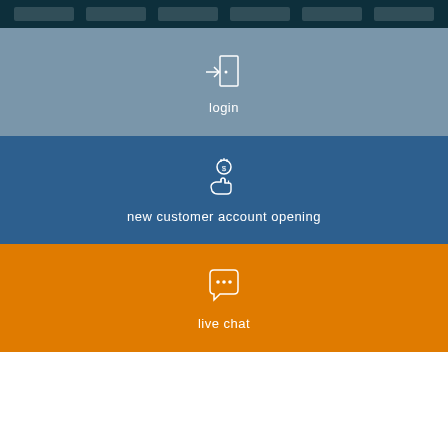[Figure (infographic): Login icon - arrow pointing into a door/rectangle, white outline on steel-blue background, with label 'login' below]
[Figure (infographic): Hand receiving coin icon, white outline on dark blue background, with label 'new customer account opening' below]
[Figure (infographic): Chat bubble with three dots icon, white outline on orange background, with label 'live chat' below]